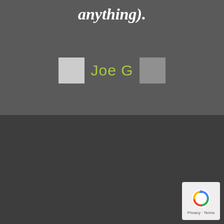anything).
Joe G
[Figure (logo): Eastwood Furniture logo with green leaf plant icon in white box and EASTWOOD FURNITURE text in white]
QUICK LINKS
Home
About Us
Furniture
Contact Us
Privacy Policy
Terms and Conditions